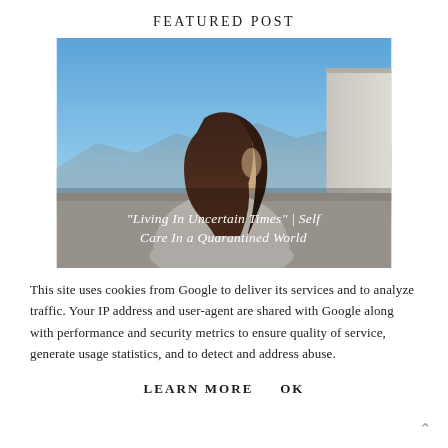FEATURED POST
[Figure (photo): Woman with dark hair viewed from behind/side, looking out over a rooftop terrace with blue sky and mountains in background. Overlaid italic white text reads: '"Living In Uncertain Times" | Self Care In a Quarantined World']
This site uses cookies from Google to deliver its services and to analyze traffic. Your IP address and user-agent are shared with Google along with performance and security metrics to ensure quality of service, generate usage statistics, and to detect and address abuse.
LEARN MORE    OK